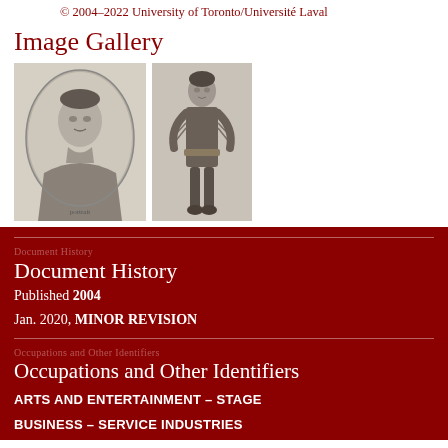© 2004–2022 University of Toronto/Université Laval
Image Gallery
[Figure (photo): Two historical portrait photographs: left is an oval engraving of a man in 19th century dress, right is a full-body photograph of a person in traditional/costume dress]
Document History
Published 2004
Jan. 2020, MINOR REVISION
Occupations and Other Identifiers
ARTS AND ENTERTAINMENT – STAGE
BUSINESS – SERVICE INDUSTRIES